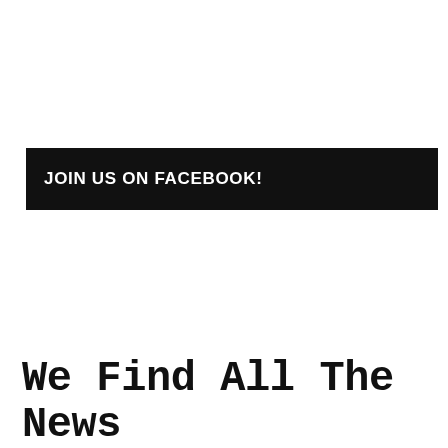JOIN US ON FACEBOOK!
We Find All The News